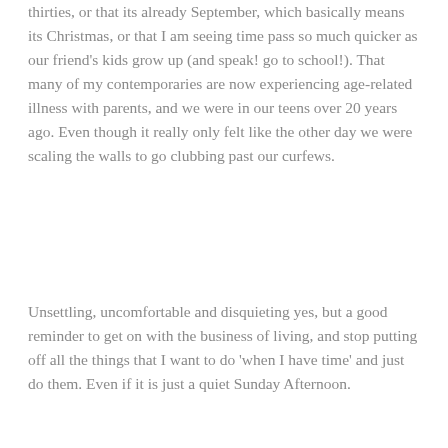thirties, or that its already September, which basically means its Christmas, or that I am seeing time pass so much quicker as our friend's kids grow up (and speak! go to school!). That many of my contemporaries are now experiencing age-related illness with parents, and we were in our teens over 20 years ago. Even though it really only felt like the other day we were scaling the walls to go clubbing past our curfews.
Unsettling, uncomfortable and disquieting yes, but a good reminder to get on with the business of living, and stop putting off all the things that I want to do 'when I have time' and just do them. Even if it is just a quiet Sunday Afternoon.